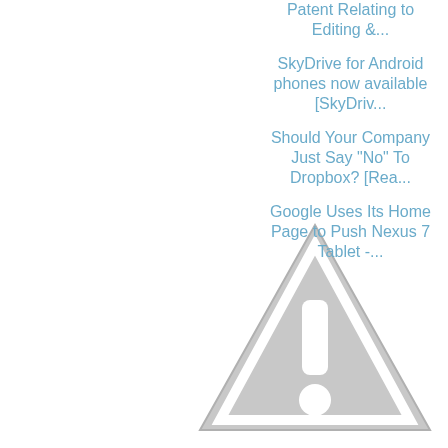Patent Relating to Editing &...
SkyDrive for Android phones now available [SkyDriv...
[Figure (illustration): A gray warning triangle icon with an exclamation mark, partially cropped]
Should Your Company Just Say "No" To Dropbox? [Rea...
Google Uses Its Home Page to Push Nexus 7 Tablet -...